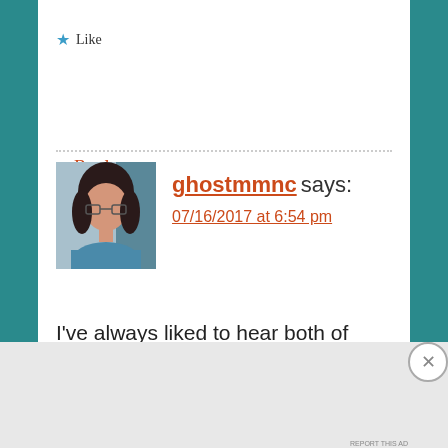★ Like
Reply
ghostmmnc says:
07/16/2017 at 6:54 pm
I've always liked to hear both of these singers! Never knew they did a duet! 🙂
[Figure (screenshot): DuckDuckGo advertisement banner: 'Search, browse, and email with more privacy. All in One Free App' with phone mockup showing DuckDuckGo logo]